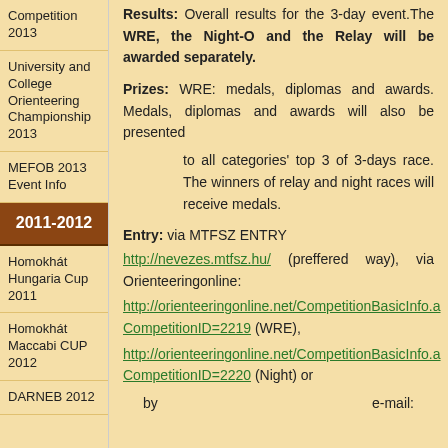Competition 2013
University and College Orienteering Championship 2013
MEFOB 2013 Event Info
2011-2012
Homokhát Hungaria Cup 2011
Homokhát Maccabi CUP 2012
DARNEB 2012
Results: Overall results for the 3-day event.The WRE, the Night-O and the Relay will be awarded separately.
Prizes: WRE: medals, diplomas and awards. Medals, diplomas and awards will also be presented
to all categories' top 3 of 3-days race. The winners of relay and night races will receive medals.
Entry: via MTFSZ ENTRY
http://nevezes.mtfsz.hu/ (preffered way), via Orienteeringonline:
http://orienteeringonline.net/CompetitionBasicInfo.aspx?CompetitionID=2219 (WRE),
http://orienteeringonline.net/CompetitionBasicInfo.aspx?CompetitionID=2220 (Night) or
by                                    e-mail: